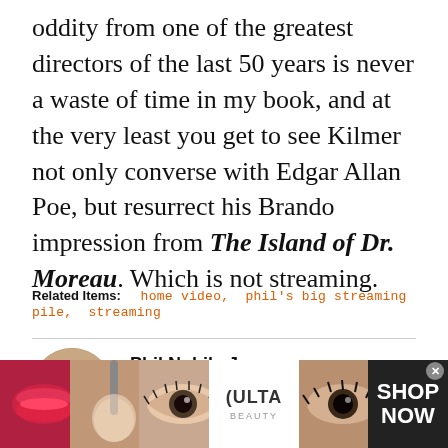oddity from one of the greatest directors of the last 50 years is never a waste of time in my book, and at the very least you get to see Kilmer not only converse with Edgar Allan Poe, but resurrect his Brando impression from The Island of Dr. Moreau. Which is not streaming.
Related Items: home video, phil's big streaming pile, streaming
Phil Nobile Jr. Friend of BMD
Phil Nobile Jr. is a lifelong movie lover and an Emmy...
[Figure (photo): Author photo of Phil Nobile Jr. in a circular crop, appearing to be in a bar or restaurant setting]
[Figure (photo): Advertisement banner for Ulta Beauty featuring close-up beauty/makeup images and SHOP NOW text]